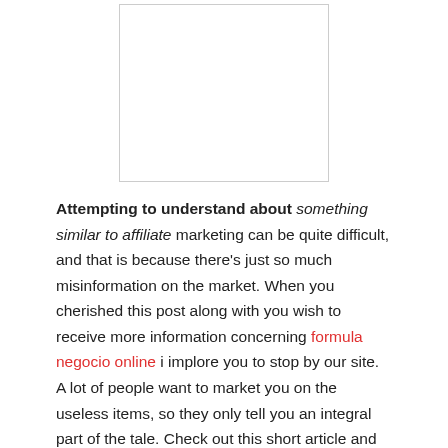[Figure (other): A white rectangular box with a light gray border, appearing as a placeholder image or advertisement area.]
Attempting to understand about something similar to affiliate marketing can be quite difficult, and that is because there's just so much misinformation on the market. When you cherished this post along with you wish to receive more information concerning formula negocio online i implore you to stop by our site. A lot of people want to market you on the useless items, so they only tell you an integral part of the tale. Check out this short article and find out about affiliate marketing what those other guys aren't telling you.
A great way to make sure that your site is usually interesting is to choose a topic that you like. If you are